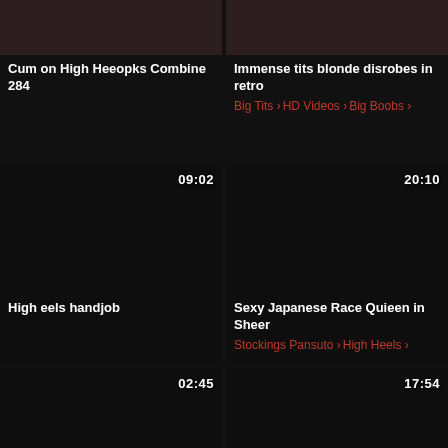[Figure (screenshot): Video thumbnail grid item 1 top partial]
Cum on High Heeopks Combine 284
[Figure (screenshot): Video thumbnail grid item 2 top partial]
Immense tits blonde disrobes in retro
Big Tits > HD Videos > Big Boobs >
[Figure (screenshot): Video thumbnail dark 09:02]
High eels handjob
[Figure (screenshot): Video thumbnail dark 20:10]
Sexy Japanese Race Quieen in Sheer
Stockings Pansuto > High Heels >
[Figure (screenshot): Video thumbnail dark 02:45]
Brunette + heel have fan 2
[Figure (screenshot): Video thumbnail dark 17:54]
In the Asbence of Hubby ... 2
Cougars > Husband > Stockings >
[Figure (screenshot): Video thumbnail dark 21:42]
[Figure (screenshot): Video thumbnail dark 16:27]